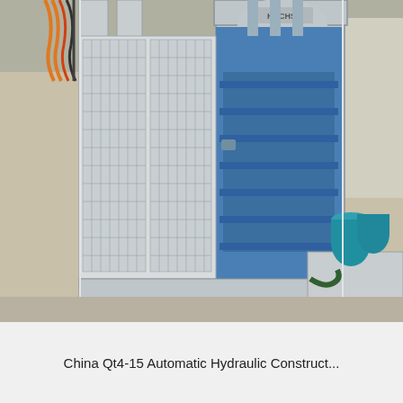[Figure (photo): Photograph of a China Qt4-15 Automatic Hydraulic Construction machine — a large industrial block-making press with a grey frame, blue hydraulic components, metal mesh safety guards on the left side, and hydraulic cylinders at the top. The machine is shown on a factory floor.]
China Qt4-15 Automatic Hydraulic Construct...